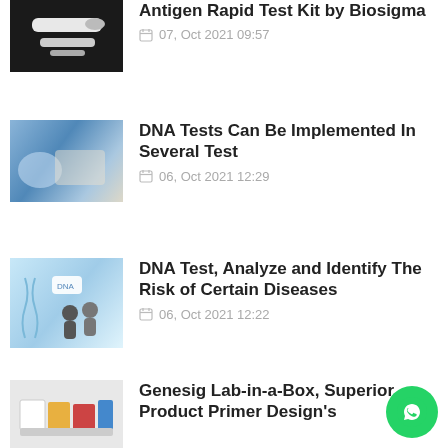[Figure (photo): Antigen rapid test kit product photo on dark background]
Antigen Rapid Test Kit by Biosigma
07, Oct 2021 09:57
[Figure (photo): DNA lab testing – gloved hands working with samples]
DNA Tests Can Be Implemented In Several Test
06, Oct 2021 12:29
[Figure (illustration): DNA test illustration with people and DNA helix graphics]
DNA Test, Analyze and Identify The Risk of Certain Diseases
06, Oct 2021 12:22
[Figure (photo): Genesig Lab-in-a-Box product photo with colorful reagent boxes]
Genesig Lab-in-a-Box, Superior Product Primer Design's